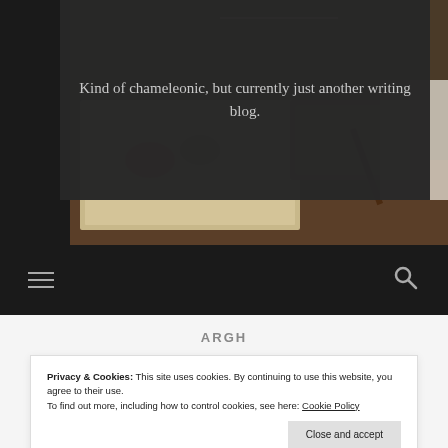[Figure (photo): Blog header image showing a desk with books, botanical illustrations, a pen, and a wooden box. Dark overlay on the right portion with tagline text.]
Kind of chameleonic, but currently just another writing blog.
[Figure (other): Navigation bar with hamburger menu icon on the left and search icon on the right, dark background.]
ARGH
Privacy & Cookies: This site uses cookies. By continuing to use this website, you agree to their use.
To find out more, including how to control cookies, see here: Cookie Policy
Close and accept
between juicy and confusing